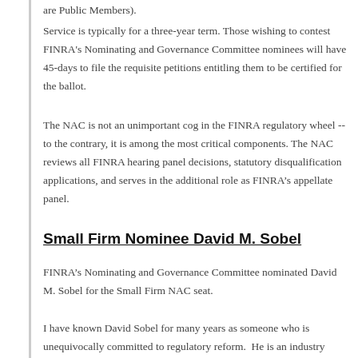are Public Members).
Service is typically for a three-year term. Those wishing to contest FINRA's Nominating and Governance Committee nominees will have 45-days to file the requisite petitions entitling them to be certified for the ballot.
The NAC is not an unimportant cog in the FINRA regulatory wheel -- to the contrary, it is among the most critical components. The NAC reviews all FINRA hearing panel decisions, statutory disqualification applications, and serves in the additional role as FINRA’s appellate panel.
Small Firm Nominee David M. Sobel
FINRA’s Nominating and Governance Committee nominated David M. Sobel for the Small Firm NAC seat.
I have known David Sobel for many years as someone who is unequivocally committed to regulatory reform.  He is an industry